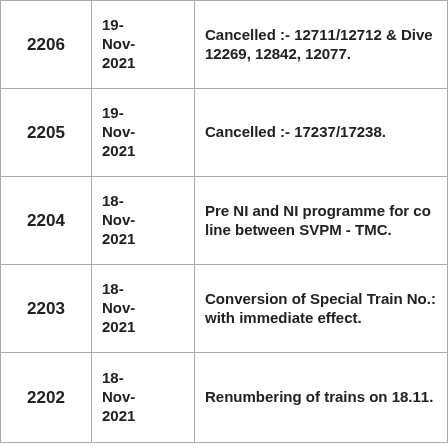| ID | Date | Description |
| --- | --- | --- |
| 2206 | 19-Nov-2021 | Cancelled :- 12711/12712 & Dive... 12269, 12842, 12077. |
| 2205 | 19-Nov-2021 | Cancelled :- 17237/17238. |
| 2204 | 18-Nov-2021 | Pre NI and NI programme for co... line between SVPM - TMC. |
| 2203 | 18-Nov-2021 | Conversion of Special Train No.... with immediate effect. |
| 2202 | 18-Nov-2021 | Renumbering of trains on 18.11.... |